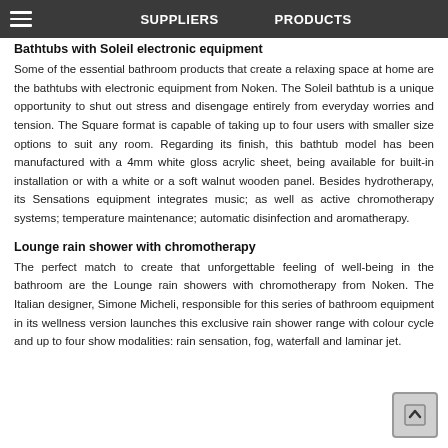SUPPLIERS   PRODUCTS
Bathtubs with Soleil electronic equipment
Some of the essential bathroom products that create a relaxing space at home are the bathtubs with electronic equipment from Noken. The Soleil bathtub is a unique opportunity to shut out stress and disengage entirely from everyday worries and tension. The Square format is capable of taking up to four users with smaller size options to suit any room. Regarding its finish, this bathtub model has been manufactured with a 4mm white gloss acrylic sheet, being available for built-in installation or with a white or a soft walnut wooden panel. Besides hydrotherapy, its Sensations equipment integrates music; as well as active chromotherapy systems; temperature maintenance; automatic disinfection and aromatherapy.
Lounge rain shower with chromotherapy
The perfect match to create that unforgettable feeling of well-being in the bathroom are the Lounge rain showers with chromotherapy from Noken. The Italian designer, Simone Micheli, responsible for this series of bathroom equipment in its wellness version launches this exclusive rain shower range with colour cycle and up to four show modalities: rain sensation, fog, waterfall and laminar jet.